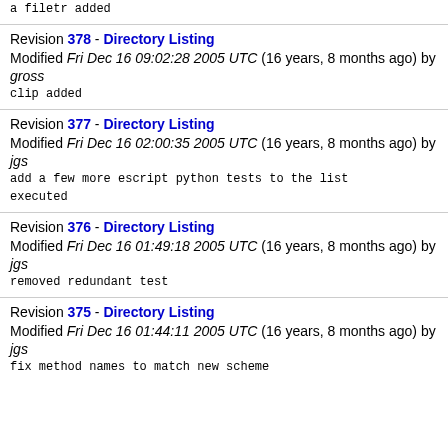a filetr added
Revision 378 - Directory Listing
Modified Fri Dec 16 09:02:28 2005 UTC (16 years, 8 months ago) by gross
clip added
Revision 377 - Directory Listing
Modified Fri Dec 16 02:00:35 2005 UTC (16 years, 8 months ago) by jgs
add a few more escript python tests to the list executed
Revision 376 - Directory Listing
Modified Fri Dec 16 01:49:18 2005 UTC (16 years, 8 months ago) by jgs
removed redundant test
Revision 375 - Directory Listing
Modified Fri Dec 16 01:44:11 2005 UTC (16 years, 8 months ago) by jgs
fix method names to match new scheme